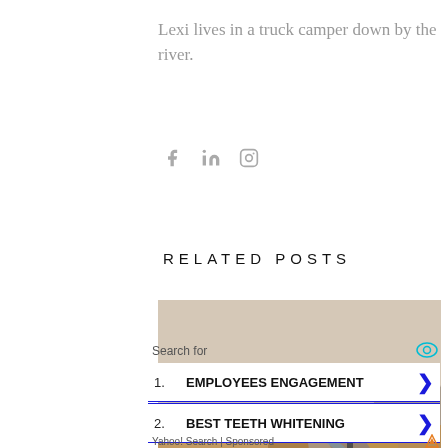Lexi lives in a truck camper down by the river.
[Figure (screenshot): Social media icons: Facebook (f), LinkedIn (in), and Instagram (camera icon) in grey]
RELATED POSTS
[Figure (photo): Person standing on a wooden boardwalk in a misty, barren landscape with a river and mountains in the background]
[Figure (screenshot): Yahoo Search sponsored ad box with 'Search for' header and two items: 1. EMPLOYEES ENGAGEMENT, 2. BEST TEETH WHITENING, with Yahoo! Search | Sponsored footer]